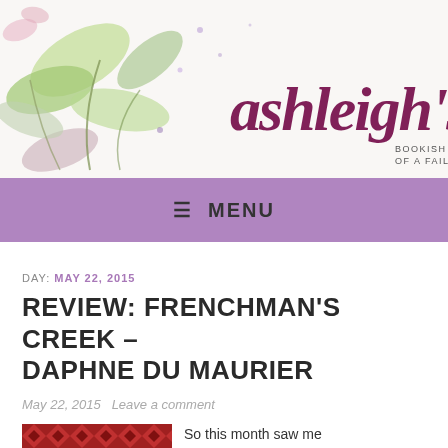[Figure (illustration): Blog header image with watercolor floral illustration on the left and cursive text 'ashleigh's b' with subtitle 'BOOKISH ... OF A FAILED' on a white background on the right]
≡ MENU
DAY: MAY 22, 2015
REVIEW: FRENCHMAN'S CREEK – DAPHNE DU MAURIER
May 22, 2015   Leave a comment
[Figure (illustration): Decorative patterned book cover thumbnail in red/dark red repeating geometric pattern]
So this month saw me